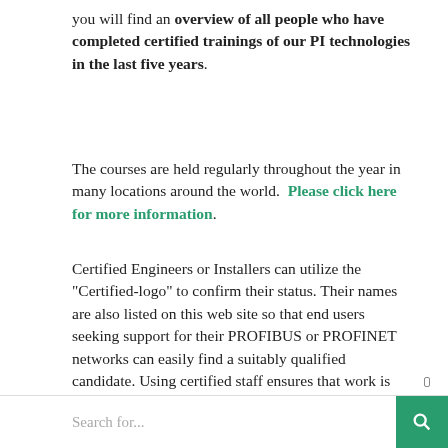you will find an overview of all people who have completed certified trainings of our PI technologies in the last five years.
The courses are held regularly throughout the year in many locations around the world.  Please click here for more information.
Certified Engineers or Installers can utilize the "Certified-logo" to confirm their status. Their names are also listed on this web site so that end users seeking support for their PROFIBUS or PROFINET networks can easily find a suitably qualified candidate. Using certified staff ensures that work is performed to the highest standards and by qualified personnel who are fully briefed in the latest techniques.